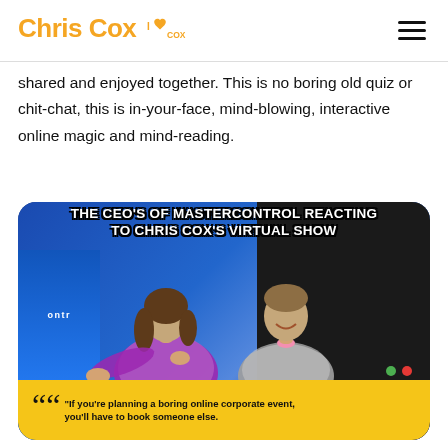Chris Cox  I❤COX
shared and enjoyed together. This is no boring old quiz or chit-chat, this is in-your-face, mind-blowing, interactive online magic and mind-reading.
[Figure (photo): Photo of two people (a woman in a sparkly purple dress and a man in a grey suit with pink bow tie) at a desk reacting to a virtual show, with overlay text: 'THE CEO'S OF MASTERCONTROL REACTING TO CHRIS COX'S VIRTUAL SHOW' and a bottom quote banner: '"If you're planning a boring online corporate event, you'll have to book someone else.']